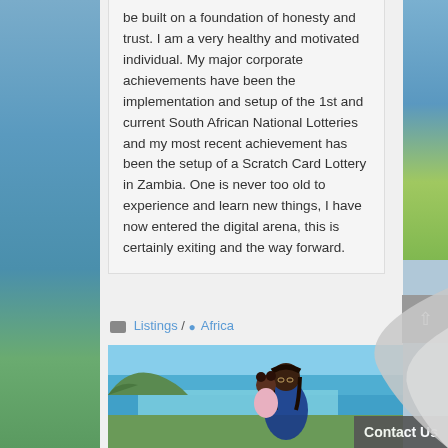be built on a foundation of honesty and trust. I am a very healthy and motivated individual. My major corporate achievements have been the implementation and setup of the 1st and current South African National Lotteries and my most recent achievement has been the setup of a Scratch Card Lottery in Zambia. One is never too old to experience and learn new things, I have now entered the digital arena, this is certainly exiting and the way forward.
Listings / Africa
[Figure (photo): Photo of a woman holding a young child, with a scenic coastal/sea background visible.]
Contact Us